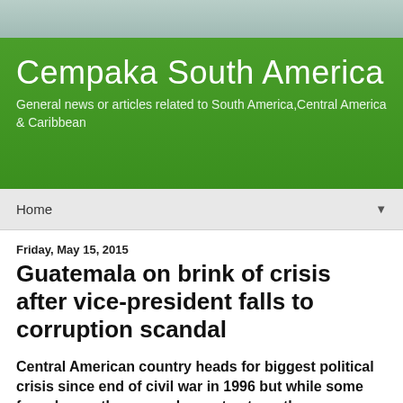Cempaka South America
General news or articles related to South America,Central America & Caribbean
Home
Friday, May 15, 2015
Guatemala on brink of crisis after vice-president falls to corruption scandal
Central American country heads for biggest political crisis since end of civil war in 1996 but while some fear chaos others see chance to strengthen democracy
The Guardian, Jo Tuckman in Mexico City, 14 May 2015